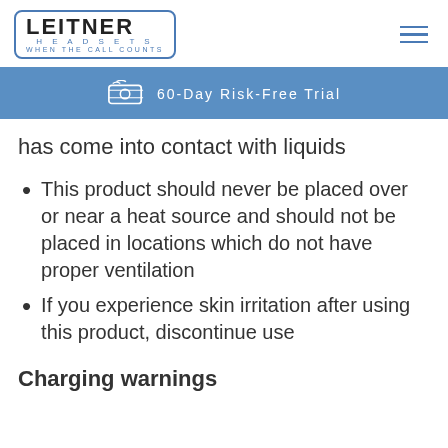LEITNER HEADSETS — WHEN THE CALL COUNTS | 60-Day Risk-Free Trial
has come into contact with liquids
This product should never be placed over or near a heat source and should not be placed in locations which do not have proper ventilation
If you experience skin irritation after using this product, discontinue use
Charging warnings